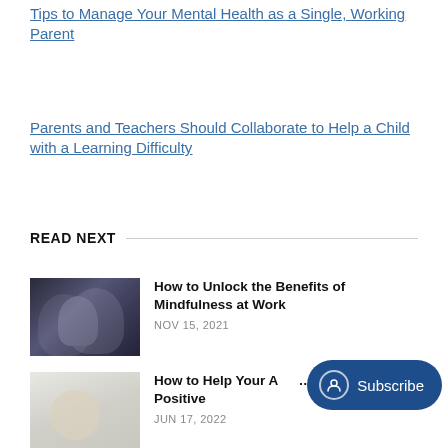Tips to Manage Your Mental Health as a Single, Working Parent
Parents and Teachers Should Collaborate to Help a Child with a Learning Difficulty
READ NEXT
[Figure (photo): Dark moody photo of a person at a desk, blurred ghostly figures in background]
How to Unlock the Benefits of Mindfulness at Work
NOV 15, 2021
[Figure (photo): Light grey photo of a hand holding small objects]
How to Help Your A... Develop a Positive...
JUN 17, 2022
Subscribe